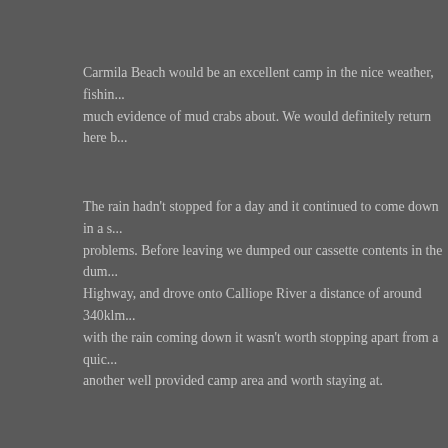Carmila Beach would be an excellent camp in the nice weather, fishing, much evidence of mud crabs about. We would definitely return here b...
The rain hadn't stopped for a day and it continued to come down in a s... problems. Before leaving we dumped our cassette contents in the dum... Highway, and drove onto Calliope River a distance of around 340klm... with the rain coming down it wasn't worth stopping apart from a quic... another well provided camp area and worth staying at.
[Figure (photo): Outdoor photo showing a campsite area with large green trees against a clear blue sky. Vehicles or caravans are partially visible at the bottom of the frame.]